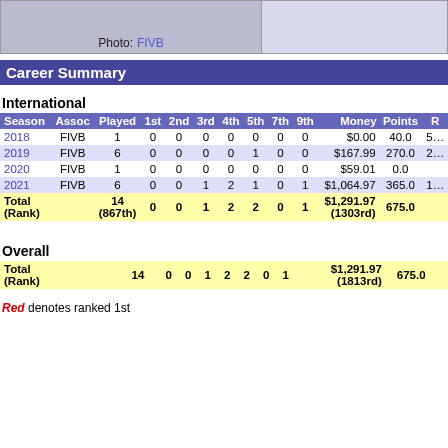[Figure (photo): Player photo credit: FIVB, with a partial player image visible on left side and a light purple area on the right]
Career Summary
International
| Season | Assoc | Played | 1st | 2nd | 3rd | 4th | 5th | 7th | 9th | Money | Points | R |
| --- | --- | --- | --- | --- | --- | --- | --- | --- | --- | --- | --- | --- |
| 2018 | FIVB | 1 | 0 | 0 | 0 | 0 | 0 | 0 | 0 | $0.00 | 40.0 | 5… |
| 2019 | FIVB | 6 | 0 | 0 | 0 | 0 | 1 | 0 | 0 | $167.99 | 270.0 | 2… |
| 2020 | FIVB | 1 | 0 | 0 | 0 | 0 | 0 | 0 | 0 | $59.01 | 0.0 |  |
| 2021 | FIVB | 6 | 0 | 0 | 1 | 2 | 1 | 0 | 1 | $1,064.97 | 365.0 | 1… |
| Total (Rank) |  | 14 (867th) | 0 | 0 | 1 | 2 | 2 | 0 | 1 | $1,291.97 (1303rd) | 675.0 |  |
Overall
| Total (Rank) |  | 14 | 0 | 0 | 1 | 2 | 2 | 0 | 1 | $1,291.97 (1813rd) | 675.0 |
| --- | --- | --- | --- | --- | --- | --- | --- | --- | --- | --- | --- |
Red denotes ranked 1st